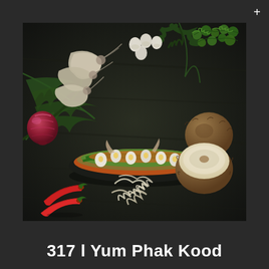[Figure (photo): Thai salad dish Yum Phak Kood presented in a black oval serving plate in the center, surrounded by raw ingredients on a dark wooden surface: raw shrimp on the left, small white quail eggs at top center, fresh green herbs at top right, a red onion at left, shredded coconut in the center-bottom, red chili peppers at bottom left, a halved coconut at right, and large palm fronds in the background.]
317 l Yum Phak Kood